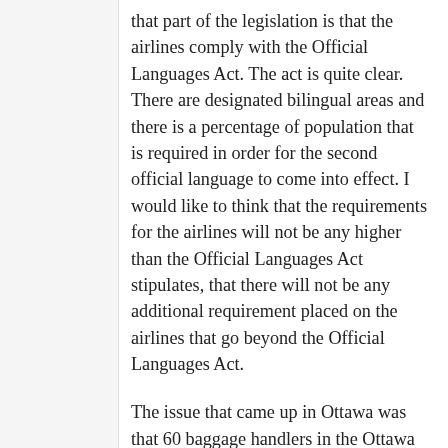that part of the legislation is that the airlines comply with the Official Languages Act. The act is quite clear. There are designated bilingual areas and there is a percentage of population that is required in order for the second official language to come into effect. I would like to think that the requirements for the airlines will not be any higher than the Official Languages Act stipulates, that there will not be any additional requirement placed on the airlines that go beyond the Official Languages Act.
The issue that came up in Ottawa was that 60 baggage handlers in the Ottawa airport were given layoff notices apparently because